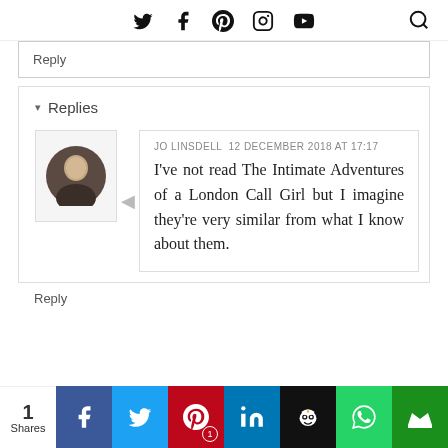Twitter Facebook Pinterest Instagram YouTube [search]
Reply
▾ Replies
JO LINSDELL  12 DECEMBER 2018 AT 17:17

I've not read The Intimate Adventures of a London Call Girl but I imagine they're very similar from what I know about them.
Reply
1 Shares | Facebook | Twitter | Pinterest 1 | LinkedIn | Hootsuite | WhatsApp | Crown